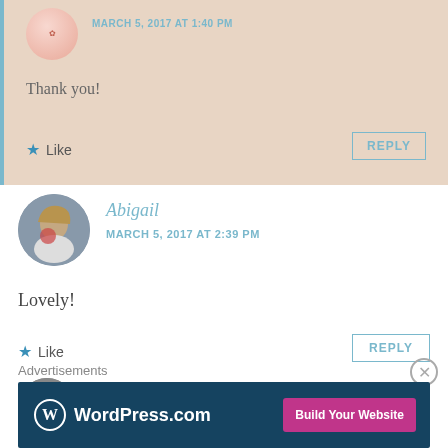Thank you!
Like
REPLY
Abigail
MARCH 5, 2017 AT 2:39 PM
Lovely!
Like
REPLY
phashionbug
Advertisements
[Figure (screenshot): WordPress.com advertisement banner with 'Build Your Website' button]